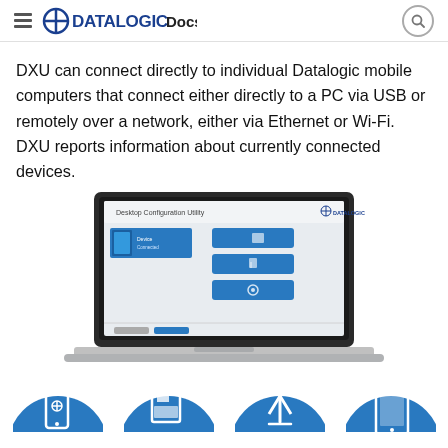DATALOGIC Docs
DXU can connect directly to individual Datalogic mobile computers that connect either directly to a PC via USB or remotely over a network, either via Ethernet or Wi-Fi. DXU reports information about currently connected devices.
[Figure (screenshot): Screenshot of DXU Desktop Configuration Utility showing a laptop screen with the DXU interface, featuring device listing panel on the left and three blue action buttons on the right.]
[Figure (infographic): Row of four blue circular icons at the bottom of the page representing different device/feature categories.]